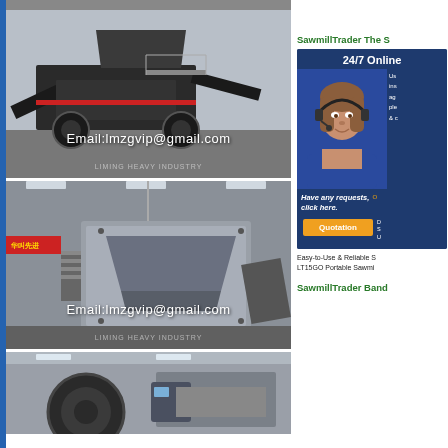[Figure (photo): Industrial mobile crushing/screening machine photographed in factory, with text overlay 'Email:lmzgvip@gmail.com' and 'LIMING HEAVY INDUSTRY']
[Figure (photo): Industrial heavy machinery (jaw crusher or similar) photographed in factory, with text overlay 'Email:lmzgvip@gmail.com' and 'LIMING HEAVY INDUSTRY']
[Figure (photo): Industrial machinery partial view in factory]
SawmillTrader The S
[Figure (infographic): SawmillTrader advertisement with 24/7 Online support agent photo, 'Have any requests, click here.' text, Quotation button, and supporting text]
Easy-to-Use & Reliable S LT15GO Portable Sawmi
SawmillTrader Band